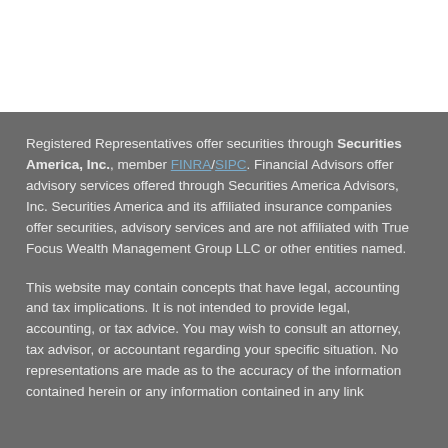Registered Representatives offer securities through Securities America, Inc., member FINRA/SIPC. Financial Advisors offer advisory services offered through Securities America Advisors, Inc. Securities America and its affiliated insurance companies offer securities, advisory services and are not affiliated with True Focus Wealth Management Group LLC or other entities named.
This website may contain concepts that have legal, accounting and tax implications. It is not intended to provide legal, accounting, or tax advice. You may wish to consult an attorney, tax advisor, or accountant regarding your specific situation. No representations are made as to the accuracy of the information contained herein or any information contained in any link